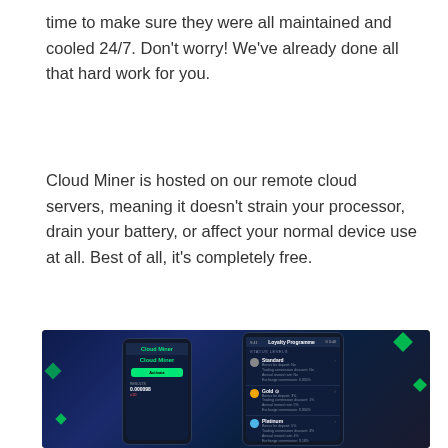time to make sure they were all maintained and cooled 24/7. Don't worry! We've already done all that hard work for you.
Cloud Miner is hosted on our remote cloud servers, meaning it doesn't strain your processor, drain your battery, or affect your normal device use at all. Best of all, it's completely free.
[Figure (screenshot): Dark-themed mobile app screenshot showing two phones side by side on a dark blue background with green diamond accent shapes. Left phone shows 'Cloud Miner' app with an Activate button and RESULTS showing 0.000098. Right phone shows 'Loyalty Programme' screen with STATUS LEVELS: Standard, Gold, Platinum, Diamond tiers.]